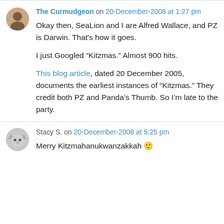The Curmudgeon on 20-December-2008 at 1:27 pm
Okay then, SeaLion and I are Alfred Wallace, and PZ is Darwin. That’s how it goes.
I just Googled “Kitzmas.” Almost 900 hits.
This blog article, dated 20 December 2005, documents the earliest instances of “Kitzmas.” They credit both PZ and Panda’s Thumb. So I’m late to the party.
Stacy S. on 20-December-2008 at 5:25 pm
Merry Kitzmahanukwanzakkah 🙂